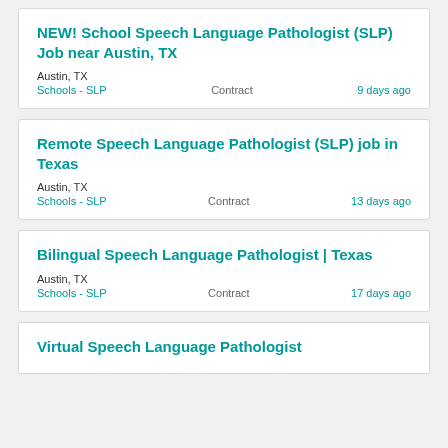NEW! School Speech Language Pathologist (SLP) Job near Austin, TX
Austin, TX
Schools - SLP   Contract   9 days ago
Remote Speech Language Pathologist (SLP) job in Texas
Austin, TX
Schools - SLP   Contract   13 days ago
Bilingual Speech Language Pathologist | Texas
Austin, TX
Schools - SLP   Contract   17 days ago
Virtual Speech Language Pathologist